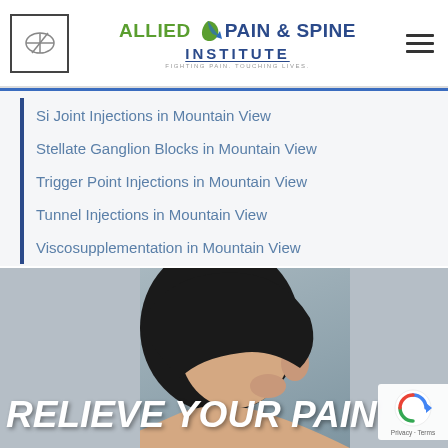Allied Pain & Spine Institute - Fighting Pain. Touching Lives.
Si Joint Injections in Mountain View
Stellate Ganglion Blocks in Mountain View
Trigger Point Injections in Mountain View
Tunnel Injections in Mountain View
Viscosupplementation in Mountain View
[Figure (photo): Woman holding her head in pain with overlaid text RELIEVE YOUR PAIN in white italic bold letters]